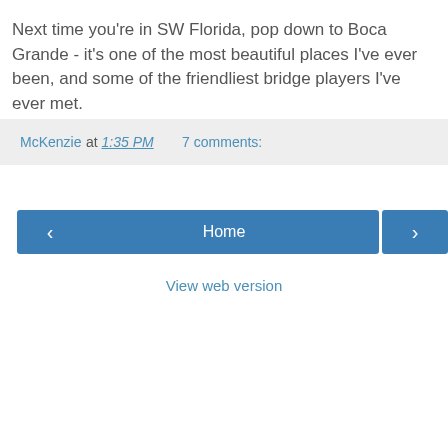Next time you're in SW Florida, pop down to Boca Grande - it's one of the most beautiful places I've ever been, and some of the friendliest bridge players I've ever met.
McKenzie at 1:35 PM   7 comments:
‹
Home
›
View web version